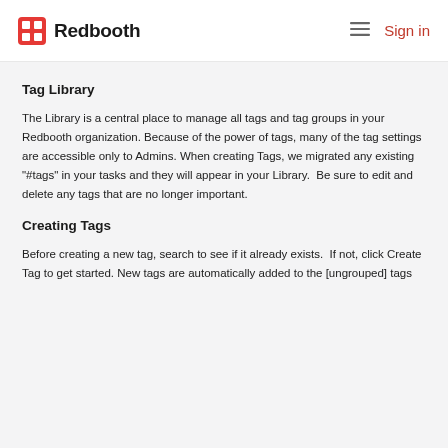Redbooth — Sign in
Tag Library
The Library is a central place to manage all tags and tag groups in your Redbooth organization. Because of the power of tags, many of the tag settings are accessible only to Admins. When creating Tags, we migrated any existing "#tags" in your tasks and they will appear in your Library.  Be sure to edit and delete any tags that are no longer important.
Creating Tags
Before creating a new tag, search to see if it already exists.  If not, click Create Tag to get started. New tags are automatically added to the [ungrouped] tags...